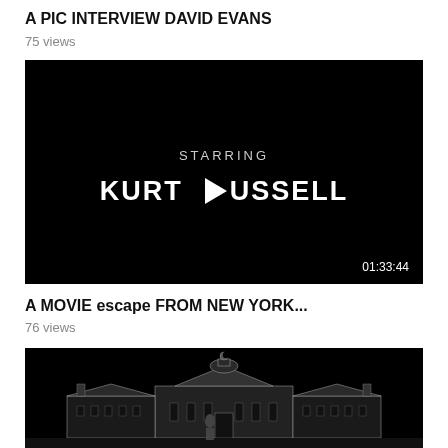A PIC INTERVIEW DAVID EVANS
75 views
[Figure (screenshot): Black video thumbnail showing text 'STARRING KURT RUSSELL' with a play button icon in the center and duration badge '01:33:44' in the bottom right corner.]
A MOVIE escape FROM NEW YORK...
76 views
[Figure (screenshot): Black and white video thumbnail showing an illustrated mansion/colonial building with columns and wings on either side.]